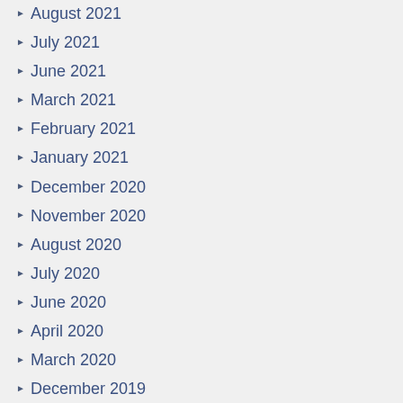August 2021
July 2021
June 2021
March 2021
February 2021
January 2021
December 2020
November 2020
August 2020
July 2020
June 2020
April 2020
March 2020
December 2019
November 2019
October 2019
September 2019
August 2019
July 2019
June 2019
May 2019